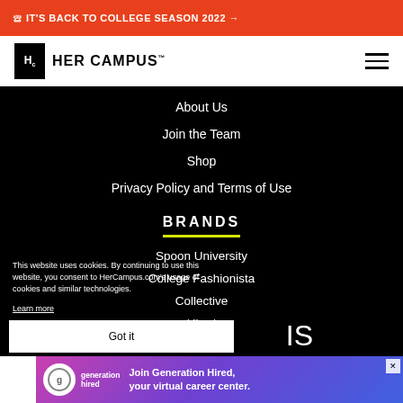🔔 IT'S BACK TO COLLEGE SEASON 2022 →
[Figure (logo): Her Campus logo with HC box and text, navigation bar with hamburger menu]
About Us
Join the Team
Shop
Privacy Policy and Terms of Use
BRANDS
Spoon University
College Fashionista
Collective
Hired
This website uses cookies. By continuing to use this website, you consent to HerCampus.com's usage of cookies and similar technologies. Learn more
Got it
IS
[Figure (infographic): Generation Hired advertisement banner - Join Generation Hired, your virtual career center]